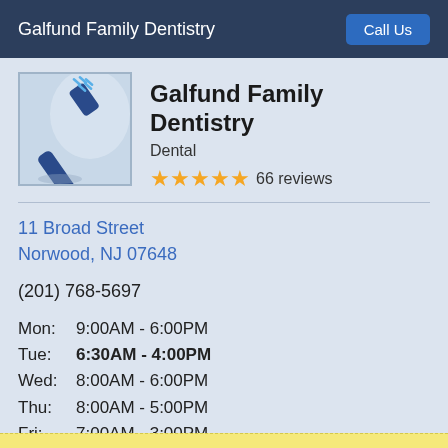Galfund Family Dentistry    Call Us
[Figure (photo): Photo of a blue toothbrush against a light background]
Galfund Family Dentistry
Dental
★★★★★ 66 reviews
11 Broad Street
Norwood, NJ 07648
(201) 768-5697
| Day | Hours |
| --- | --- |
| Mon: | 9:00AM - 6:00PM |
| Tue: | 6:30AM - 4:00PM |
| Wed: | 8:00AM - 6:00PM |
| Thu: | 8:00AM - 5:00PM |
| Fri: | 7:00AM - 3:00PM |
| Sat: | By appointment only |
| Sun: | Closed |